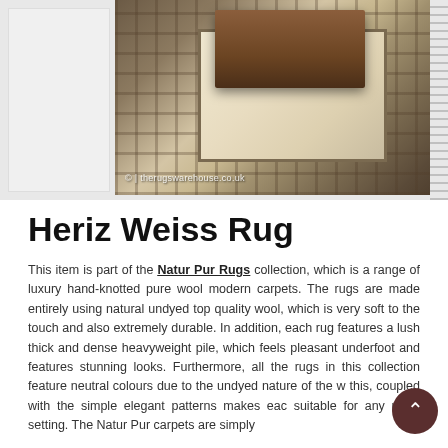[Figure (photo): A decorative rug (Heriz Weiss Rug) displayed on a wooden floor with a wooden coffee table placed on top. The rug features traditional Persian-style patterns with a cream/beige center and dark border. Watermark reads: © | therugswarehouse.co.uk]
Heriz Weiss Rug
This item is part of the Natur Pur Rugs collection, which is a range of luxury hand-knotted pure wool modern carpets. The rugs are made entirely using natural undyed top quality wool, which is very soft to the touch and also extremely durable. In addition, each rug features a lush thick and dense heavyweight pile, which feels pleasant underfoot and features stunning looks. Furthermore, all the rugs in this collection feature neutral colours due to the undyed nature of the w... this, coupled with the simple elegant patterns makes each suitable for any room setting. The Natur Pur carpets are simply